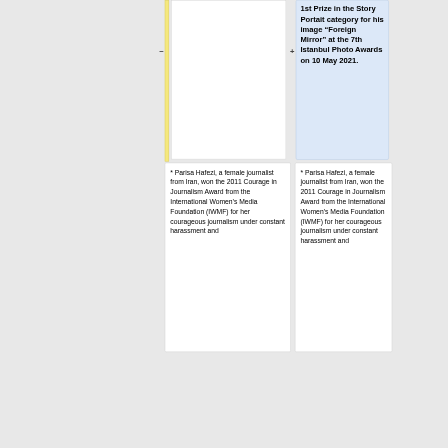[Figure (photo): White image/photo placeholder box with a yellow vertical bar on the left side. Minus and plus zoom controls visible.]
1st Prize in the Story Portait category for his image “Foreign Mirror” at the 7th Istanbul Photo Awards on 10 May 2021.
* Parisa Hafezi, a female journalist from Iran, won the 2011 Courage in Journalism Award from the International Women’s Media Foundation (IWMF) for her courageous journalism under constant harassment and
* Parisa Hafezi, a female journalist from Iran, won the 2011 Courage in Journalism Award from the International Women’s Media Foundation (IWMF) for her courageous journalism under constant harassment and